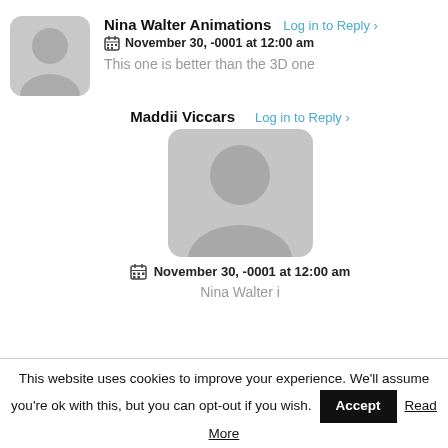Nina Walter Animations
Log in to Reply ›
November 30, -0001 at 12:00 am
This one is better than the 3D one
Maddii Viccars
Log in to Reply ›
November 30, -0001 at 12:00 am
Nina Walter i
This website uses cookies to improve your experience. We'll assume you're ok with this, but you can opt-out if you wish.
Accept
Read More